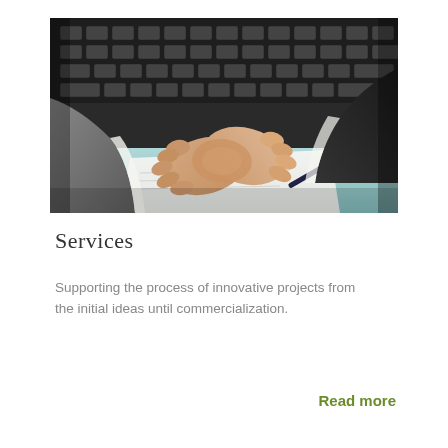[Figure (photo): Two people in business attire shaking hands over a desk with papers and a pen, with a computer keyboard visible in the background.]
Services
Supporting the process of innovative projects from the initial ideas until commercialization.
Read more